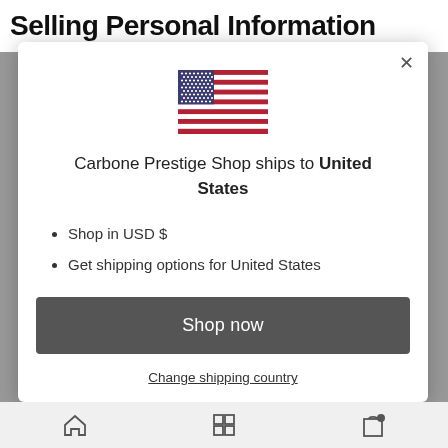Selling Personal Information
[Figure (illustration): US flag emoji/icon centered in modal]
Carbone Prestige Shop ships to United States
Shop in USD $
Get shipping options for United States
Shop now
Change shipping country
Navigation bar icons: home, grid, bag